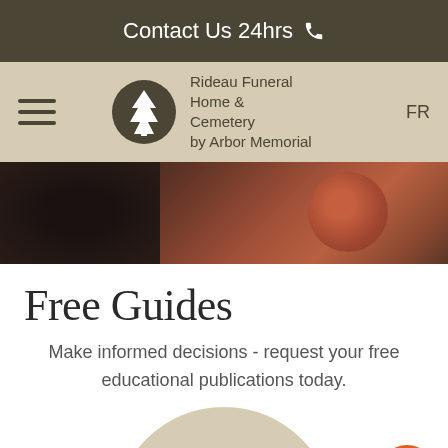Contact Us 24hrs
Rideau Funeral Home & Cemetery by Arbor Memorial
FR
[Figure (photo): Partial photo of a person with a reddish object, dark background]
Free Guides
Make informed decisions - request your free educational publications today.
Benefits of Pre-